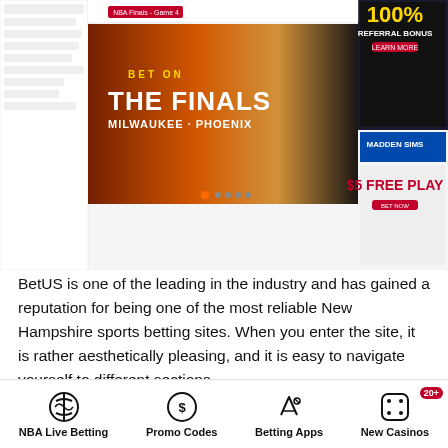[Figure (screenshot): Screenshot of BetUS sports betting website showing NBA Finals Milwaukee vs Phoenix banner, navigation menu with sports categories, and promotional banners for 100% referral bonus and $5 free play.]
BetUS is one of the leading in the industry and has gained a reputation for being one of the most reliable New Hampshire sports betting sites. When you enter the site, it is rather aesthetically pleasing, and it is easy to navigate yourself to different sections.
There is a full gamut of sports to pick from, including football, tennis, cycling, rugby union, and motor racing. The bonus is rather attractive too, as it consists of a 100% matched deposit sports bonus and a 25% casino
NBA Live Betting   Promo Codes   Betting Apps   New Casinos (20+)